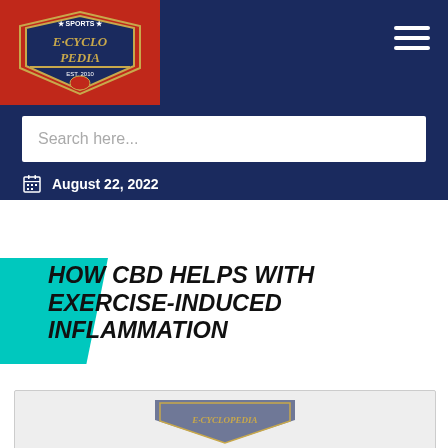Sports E-Cyclopedia
Search here...
August 22, 2022
HOW CBD HELPS WITH EXERCISE-INDUCED INFLAMMATION
[Figure (photo): Partial image of a sports-related logo or figure at the bottom of the page]